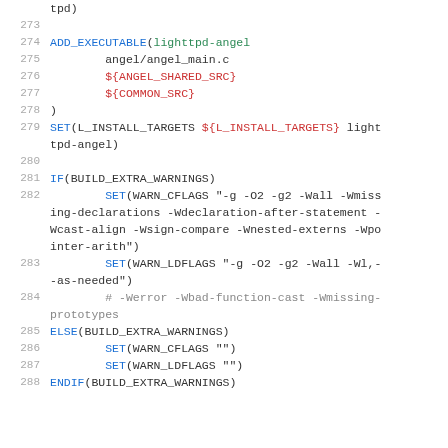Code listing lines 273-288, CMakeLists.txt snippet showing ADD_EXECUTABLE, SET commands for lighttpd-angel build configuration
tpd)
273
274    ADD_EXECUTABLE(lighttpd-angel
275            angel/angel_main.c
276            ${ANGEL_SHARED_SRC}
277            ${COMMON_SRC}
278    )
279    SET(L_INSTALL_TARGETS ${L_INSTALL_TARGETS} lighttpd-angel)
280
281    IF(BUILD_EXTRA_WARNINGS)
282            SET(WARN_CFLAGS "-g -O2 -g2 -Wall -Wmissing-declarations -Wdeclaration-after-statement -Wcast-align -Wsign-compare -Wnested-externs -Wpointer-arith")
283            SET(WARN_LDFLAGS "-g -O2 -g2 -Wall -Wl,--as-needed")
284            # -Werror -Wbad-function-cast -Wmissing-prototypes
285    ELSE(BUILD_EXTRA_WARNINGS)
286            SET(WARN_CFLAGS "")
287            SET(WARN_LDFLAGS "")
288    ENDIF(BUILD_EXTRA_WARNINGS)